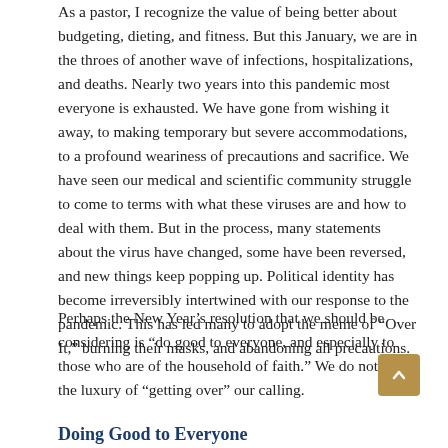As a pastor, I recognize the value of being better about budgeting, dieting, and fitness. But this January, we are in the throes of another wave of infections, hospitalizations, and deaths. Nearly two years into this pandemic most everyone is exhausted. We have gone from wishing it away, to making temporary but severe accommodations, to a profound weariness of precautions and sacrifice. We have seen our medical and scientific community struggle to come to terms with what these viruses are and how to deal with them. But in the process, many statements about the virus have changed, some have been reversed, and new things keep popping up. Political identity has become irreversibly intertwined with our response to the pandemic. This has led many to adopt the meme of “Over It,” burning their masks, and abandoning all precautions.
Perhaps the New Year’s resolution that we should be considering is “do good to everyone, and especially to those who are of the household of faith.” We do not have the luxury of “getting over” our calling.
Doing Good to Everyone